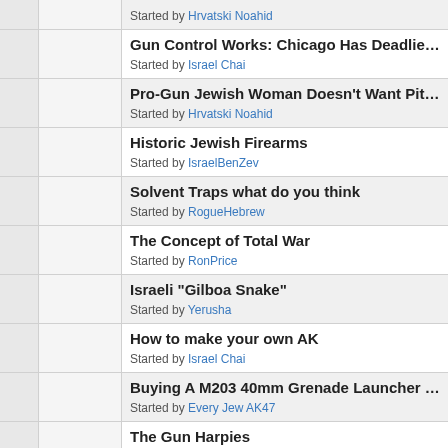Started by Hrvatski Noahid
Gun Control Works: Chicago Has Deadliest Murder Month in 13 Ye...
Started by Israel Chai
Pro-Gun Jewish Woman Doesn't Want Pittsburgh to Enact Gun Co...
Started by Hrvatski Noahid
Historic Jewish Firearms
Started by IsraelBenZev
Solvent Traps what do you think
Started by RogueHebrew
The Concept of Total War
Started by RonPrice
Israeli "Gilboa Snake"
Started by Yerusha
How to make your own AK
Started by Israel Chai
Buying A M203 40mm Grenade Launcher and 40mm Grenade Rou...
Started by Every Jew AK47
The Gun Harpies
Started by Confederate Kahanist
9 year old girl kills accidentally with Uzi
Started by Yerusha
VEPR 12 AK-47 Shotgun...